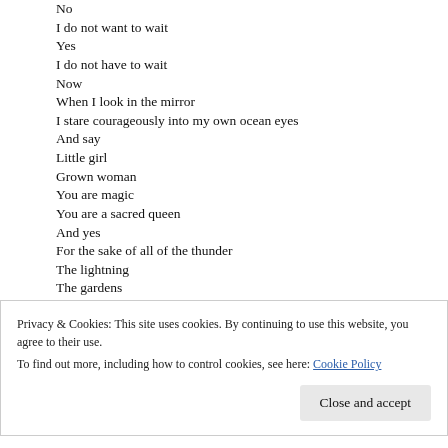No
I do not want to wait
Yes
I do not have to wait
Now
When I look in the mirror
I stare courageously into my own ocean eyes
And say
Little girl
Grown woman
You are magic
You are a sacred queen
And yes
For the sake of all of the thunder
The lightning
The gardens
The tornados
Privacy & Cookies: This site uses cookies. By continuing to use this website, you agree to their use.
To find out more, including how to control cookies, see here: Cookie Policy